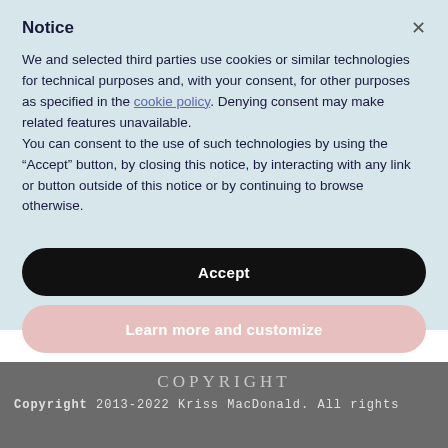Notice
We and selected third parties use cookies or similar technologies for technical purposes and, with your consent, for other purposes as specified in the cookie policy. Denying consent may make related features unavailable.
You can consent to the use of such technologies by using the “Accept” button, by closing this notice, by interacting with any link or button outside of this notice or by continuing to browse otherwise.
Accept
Learn more and customize
COPYRIGHT
Copyright 2013-2022 Kriss MacDonald. All rights